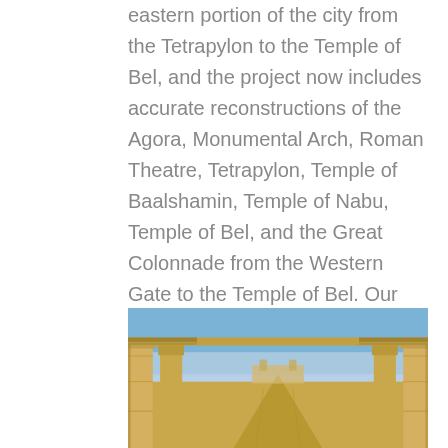Our current focus is completing the south-eastern portion of the city from the Tetrapylon to the Temple of Bel, and the project now includes accurate reconstructions of the Agora, Monumental Arch, Roman Theatre, Tetrapylon, Temple of Baalshamin, Temple of Nabu, Temple of Bel, and the Great Colonnade from the Western Gate to the Temple of Bel. Our head designer has modeled most of these structures but we have also incorporated some models that were made available by other groups, like #NEW PALMYRA.
[Figure (photo): A 3D rendering/reconstruction image of ancient Palmyra showing a colonnade street with columns on both sides, sandy/golden colored ancient Roman-style architecture, blue sky in the background.]